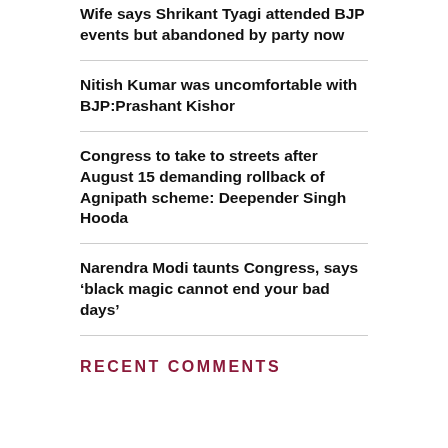Wife says Shrikant Tyagi attended BJP events but abandoned by party now
Nitish Kumar was uncomfortable with BJP:Prashant Kishor
Congress to take to streets after August 15 demanding rollback of Agnipath scheme: Deepender Singh Hooda
Narendra Modi taunts Congress, says ‘black magic cannot end your bad days’
RECENT COMMENTS